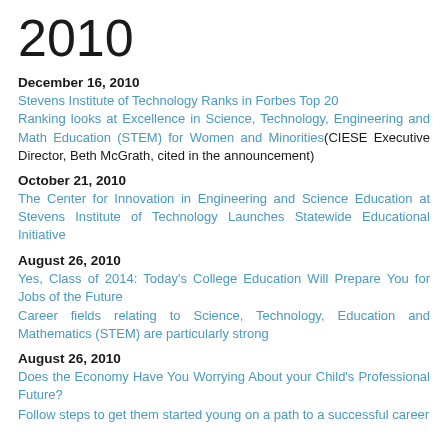2010
December 16, 2010
Stevens Institute of Technology Ranks in Forbes Top 20
Ranking looks at Excellence in Science, Technology, Engineering and Math Education (STEM) for Women and Minorities(CIESE Executive Director, Beth McGrath, cited in the announcement)
October 21, 2010
The Center for Innovation in Engineering and Science Education at Stevens Institute of Technology Launches Statewide Educational Initiative
August 26, 2010
Yes, Class of 2014: Today's College Education Will Prepare You for Jobs of the Future
Career fields relating to Science, Technology, Education and Mathematics (STEM) are particularly strong
August 26, 2010
Does the Economy Have You Worrying About your Child's Professional Future?
Follow steps to get them started young on a path to a successful career